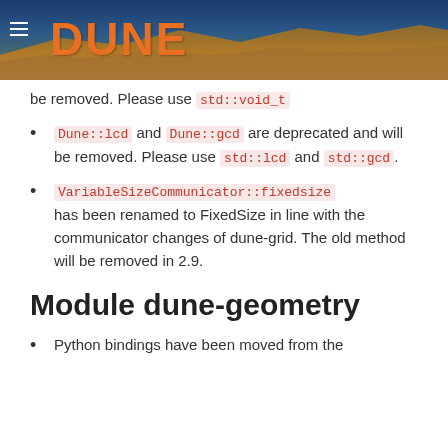DUNE
be removed. Please use std::void_t
Dune::lcd and Dune::gcd are deprecated and will be removed. Please use std::lcd and std::gcd.
VariableSizeCommunicator::fixedsize has been renamed to FixedSize in line with the communicator changes of dune-grid. The old method will be removed in 2.9.
Module dune-geometry
Python bindings have been moved from the